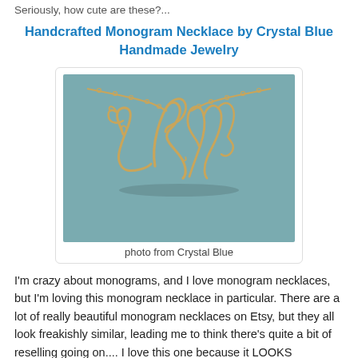Seriously, how cute are these?...
Handcrafted Monogram Necklace by Crystal Blue Handmade Jewelry
[Figure (photo): Photo of a gold wire handcrafted monogram necklace with cursive initials on a teal/blue background, hung on a gold chain.]
photo from Crystal Blue
I'm crazy about monograms, and I love monogram necklaces, but I'm loving this monogram necklace in particular. There are a lot of really beautiful monogram necklaces on Etsy, but they all look freakishly similar, leading me to think there's quite a bit of reselling going on.... I love this one because it LOOKS handmade, and I love that. Plus